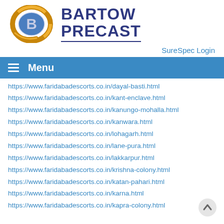[Figure (logo): Bartow Precast logo: gold ring with blue B letter inside, next to bold dark blue text BARTOW PRECAST with underline]
SureSpec Login
Menu
https://www.faridabadescorts.co.in/dayal-basti.html
https://www.faridabadescorts.co.in/kant-enclave.html
https://www.faridabadescorts.co.in/kanungo-mohalla.html
https://www.faridabadescorts.co.in/kanwara.html
https://www.faridabadescorts.co.in/lohagarh.html
https://www.faridabadescorts.co.in/lane-pura.html
https://www.faridabadescorts.co.in/lakkarpur.html
https://www.faridabadescorts.co.in/krishna-colony.html
https://www.faridabadescorts.co.in/katan-pahari.html
https://www.faridabadescorts.co.in/karna.html
https://www.faridabadescorts.co.in/kapra-colony.html